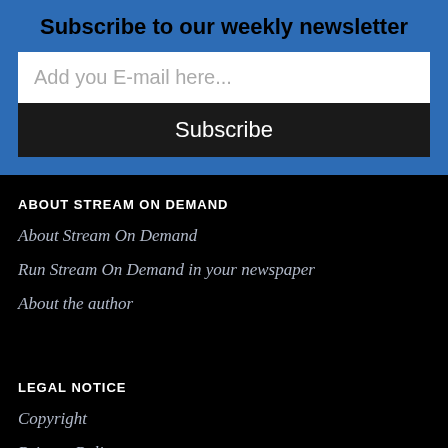Subscribe to our weekly newsletter
Add you E-mail here...
Subscribe
ABOUT STREAM ON DEMAND
About Stream On Demand
Run Stream On Demand in your newspaper
About the author
LEGAL NOTICE
Copyright
Privacy Policy
META